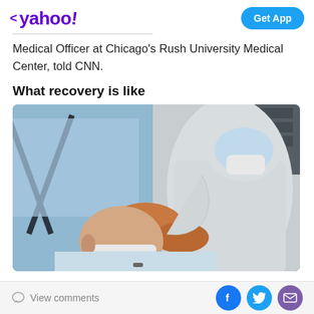< yahoo! | Get App
Medical Officer at Chicago's Rush University Medical Center, told CNN.
What recovery is like
[Figure (photo): A healthcare worker in full PPE including white protective suit, face shield, and gloves, leaning over a patient lying on a hospital bed wearing a surgical mask.]
View comments